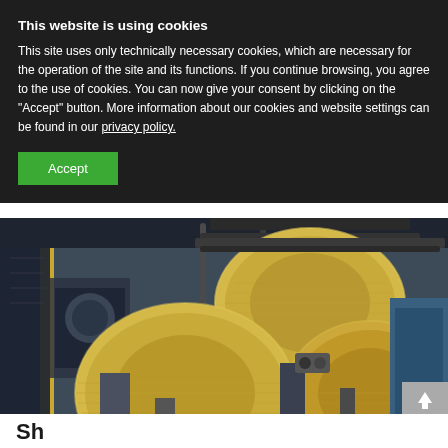This website is using cookies
This site uses only technically necessary cookies, which are necessary for the operation of the site and its functions. If you continue browsing, you agree to the use of cookies. You can now give your consent by clicking on the "Accept" button. More information about our cookies and website settings can be found in our privacy policy.
[Figure (photo): Industrial machinery showing large rolls of yellowish film/sheet material on a manufacturing production line with metal frames and pipes in a factory setting]
Sh...